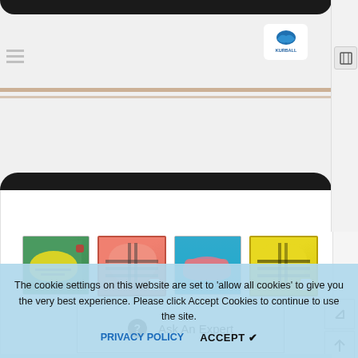[Figure (photo): Close-up of an orange/red dog life jacket with black border trim and a logo badge in the upper right corner showing a seal/sea lion logo with brand name Kurball]
[Figure (photo): Four product thumbnail images: a yellow dog life jacket worn by a dog, a salmon/pink colored life jacket laid flat, a dog swimming in a pool wearing a pink life jacket, and a yellow life jacket laid flat]
Ask An Expert
The cookie settings on this website are set to 'allow all cookies' to give you the very best experience. Please click Accept Cookies to continue to use the site.
PRIVACY POLICY
ACCEPT ✔
H2O Life Jacket
No reviews
Vendor:
Furballs
SKU
FPR100-O